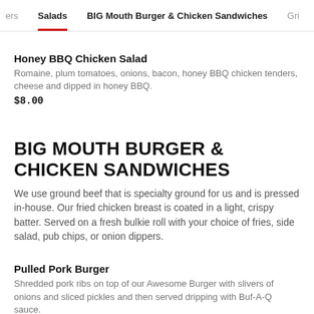ers   Salads   BIG Mouth Burger & Chicken Sandwiches   Gri
Honey BBQ Chicken Salad
Romaine, plum tomatoes, onions, bacon, honey BBQ chicken tenders, cheese and dipped in honey BBQ.
$8.00
BIG MOUTH BURGER & CHICKEN SANDWICHES
We use ground beef that is specialty ground for us and is pressed in-house. Our fried chicken breast is coated in a light, crispy batter. Served on a fresh bulkie roll with your choice of fries, side salad, pub chips, or onion dippers.
Pulled Pork Burger
Shredded pork ribs on top of our Awesome Burger with slivers of onions and sliced pickles and then served dripping with Buf-A-Q sauce.
$12.00